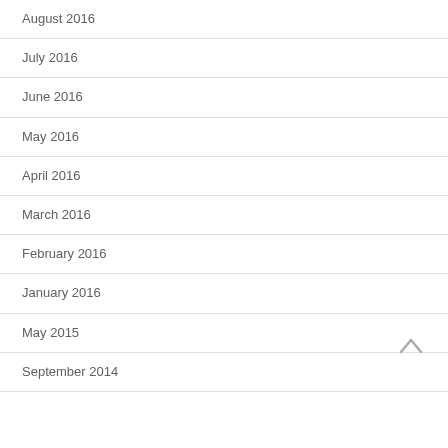August 2016
July 2016
June 2016
May 2016
April 2016
March 2016
February 2016
January 2016
May 2015
September 2014